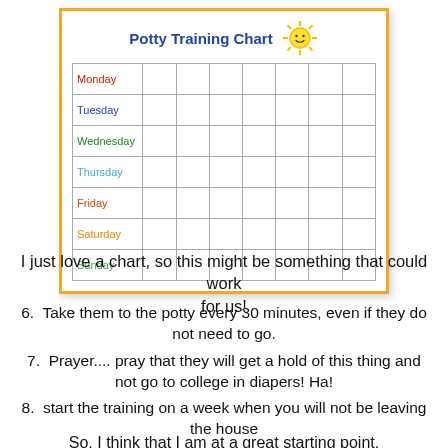[Figure (other): Potty Training Chart showing a weekly grid with days Monday through Sunday in colored text, each row having 7 empty cells for stickers/marks, with an orange border and a cartoon sun in the top right corner.]
I just love a chart, so this might be something that could work for us!
6.  Take them to the potty every 30 minutes, even if they do not need to go.
7.  Prayer.... pray that they will get a hold of this thing and not go to college in diapers! Ha!
8.  start the training on a week when you will not be leaving the house
So, I think that I am at a great starting point. I have received some great advice from friends who have